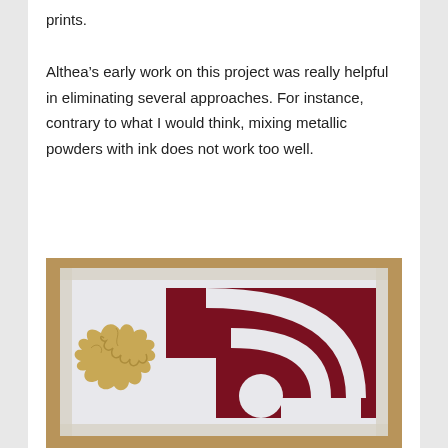prints.
Althea’s early work on this project was really helpful in eliminating several approaches. For instance, contrary to what I would think, mixing metallic powders with ink does not work too well.
[Figure (photo): A screen printing frame showing a dark red/maroon stencil pattern with arched/circular shapes on a white surface, with a crumpled piece of metallic gold foil or paper placed on the left side of the screen.]
[Figure (photo): A close-up photo showing hands and what appears to be printing or craft materials, partially visible at bottom of page.]